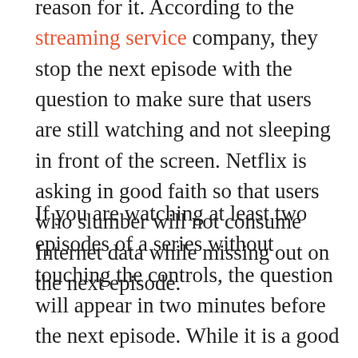reason for it. According to the streaming service company, they stop the next episode with the question to make sure that users are still watching and not sleeping in front of the screen. Netflix is asking in good faith so that users who slumber will not consume Internet data while missing out on the next episode.
If you are watching at least two episodes of a series without touching the controls, the question will appear in two minutes before the next episode. While it is a good thing for Netflix to help its users save bandwidth, some users are on full alert and are just annoyed by the interruption.